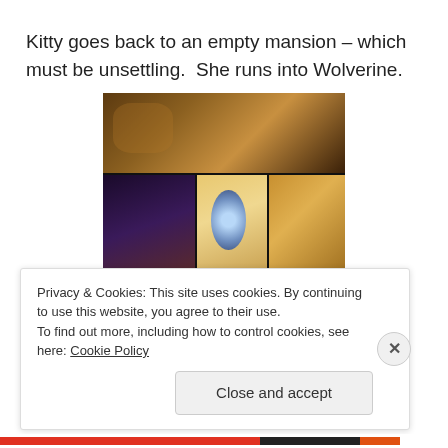Kitty goes back to an empty mansion – which must be unsettling.  She runs into Wolverine.
[Figure (illustration): Comic book panels showing Kitty Pryde and Wolverine at the empty X-Men mansion. Top panel shows Kitty smiling with a speech bubble. Middle row shows three panels: Kitty in X-Men uniform, a close-up of a face with wide eyes, and Wolverine with claws raised. Bottom panel shows characters in a kitchen/room setting.]
Privacy & Cookies: This site uses cookies. By continuing to use this website, you agree to their use.
To find out more, including how to control cookies, see here: Cookie Policy
Close and accept